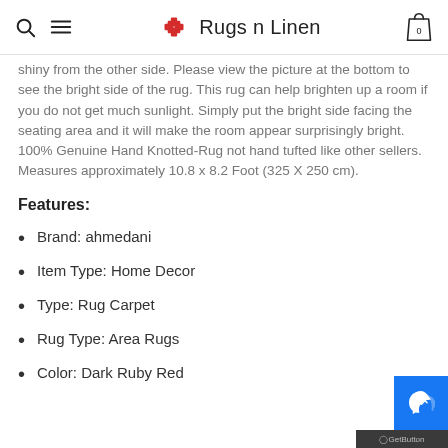Rugs n Linen
shiny from the other side. Please view the picture at the bottom to see the bright side of the rug. This rug can help brighten up a room if you do not get much sunlight. Simply put the bright side facing the seating area and it will make the room appear surprisingly bright. 100% Genuine Hand Knotted-Rug not hand tufted like other sellers. Measures approximately 10.8 x 8.2 Foot (325 X 250 cm).
Features:
Brand: ahmedani
Item Type: Home Decor
Type: Rug Carpet
Rug Type: Area Rugs
Color: Dark Ruby Red